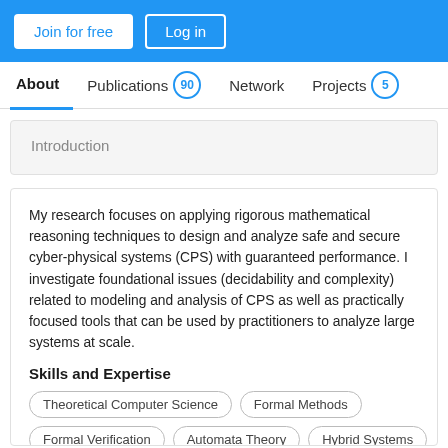Join for free | Log in
About | Publications 90 | Network | Projects 5
Introduction
My research focuses on applying rigorous mathematical reasoning techniques to design and analyze safe and secure cyber-physical systems (CPS) with guaranteed performance. I investigate foundational issues (decidability and complexity) related to modeling and analysis of CPS as well as practically focused tools that can be used by practitioners to analyze large systems at scale.
Skills and Expertise
Theoretical Computer Science
Formal Methods
Formal Verification
Automata Theory
Hybrid Systems
Cybersecurity
Theory of Computation
Optimization